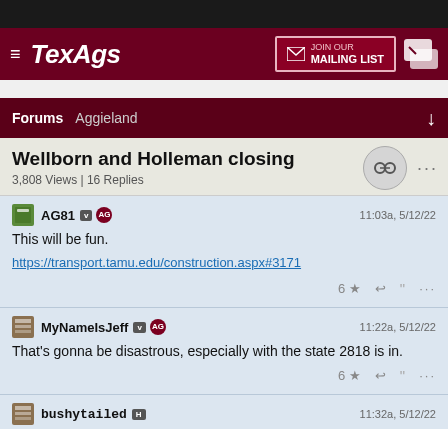TexAgs — JOIN OUR MAILING LIST
Forums  Aggieland
Wellborn and Holleman closing
3,808 Views | 16 Replies
AG81  11:03a, 5/12/22
This will be fun.
https://transport.tamu.edu/construction.aspx#3171
MyNameIsJeff  11:22a, 5/12/22
That's gonna be disastrous, especially with the state 2818 is in.
bushytailed  11:32a, 5/12/22